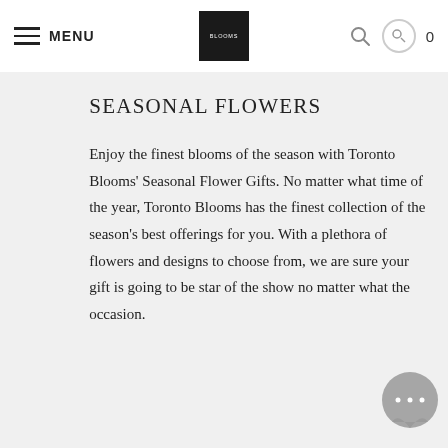MENU | BLOOMS | 0
SEASONAL FLOWERS
Enjoy the finest blooms of the season with Toronto Blooms' Seasonal Flower Gifts. No matter what time of the year, Toronto Blooms has the finest collection of the season's best offerings for you. With a plethora of flowers and designs to choose from, we are sure your gift is going to be star of the show no matter what the occasion.